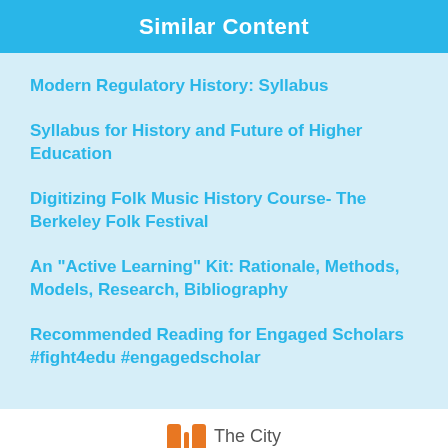Similar Content
Modern Regulatory History: Syllabus
Syllabus for History and Future of Higher Education
Digitizing Folk Music History Course- The Berkeley Folk Festival
An "Active Learning" Kit: Rationale, Methods, Models, Research, Bibliography
Recommended Reading for Engaged Scholars #fight4edu #engagedscholar
The City